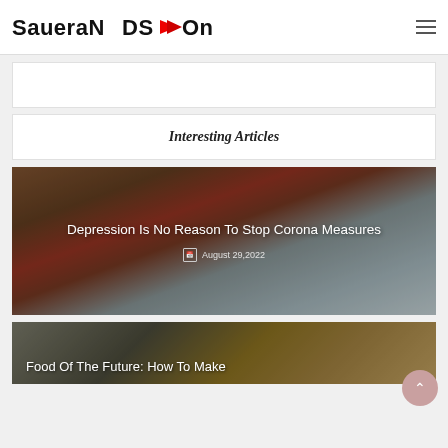SaueraNDS→Ons
[Figure (other): Advertisement banner placeholder]
Interesting Articles
[Figure (photo): Article image with judge gavel and robe, titled 'Depression Is No Reason To Stop Corona Measures', dated August 29,2022]
Depression Is No Reason To Stop Corona Measures
August 29,2022
[Figure (photo): Article image with food, titled 'Food Of The Future: How To Make']